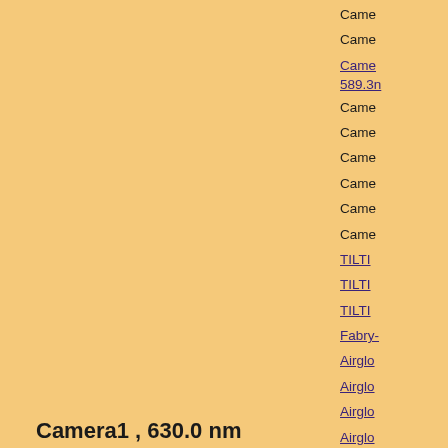Camera1 , 630.0 nm
Date : 20180421
Click figure to enlarge
Camera
Camera
Camera 589.3n
Camera
Camera
Camera
Camera
Camera
Camera
TILTI
TILTI
TILTI
Fabry-
Airglo
Airglo
Airglo
Airglo
Airglo
Airglo
3-ch p
3-ch p